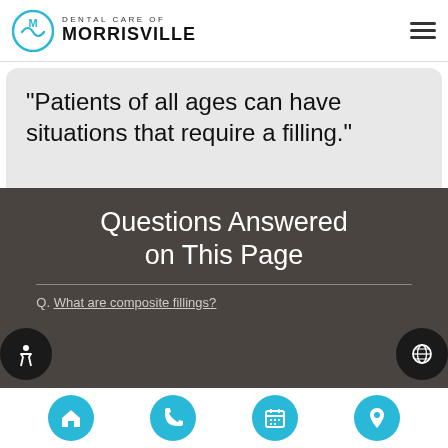DENTAL CARE OF MORRISVILLE
“Patients of all ages can have situations that require a filling.”
Questions Answered on This Page
Q. What are composite fillings?